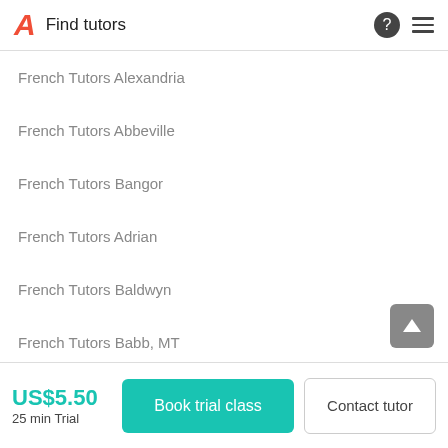Find tutors
French Tutors Alexandria
French Tutors Abbeville
French Tutors Bangor
French Tutors Adrian
French Tutors Baldwyn
French Tutors Babb, MT
US$5.50
25 min Trial
Book trial class
Contact tutor